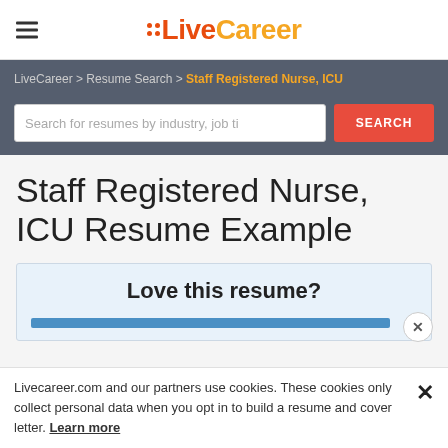LiveCareer (logo with hamburger menu)
LiveCareer > Resume Search > Staff Registered Nurse, ICU
Search for resumes by industry, job ti [SEARCH]
Staff Registered Nurse, ICU Resume Example
Love this resume?
Livecareer.com and our partners use cookies. These cookies only collect personal data when you opt in to build a resume and cover letter. Learn more